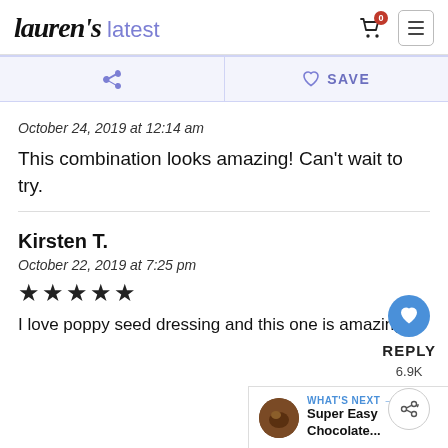lauren's latest
October 24, 2019 at 12:14 am
This combination looks amazing! Can't wait to try.
REPLY
6.9K
Kirsten T.
October 22, 2019 at 7:25 pm
★★★★★
I love poppy seed dressing and this one is amazing!
WHAT'S NEXT → Super Easy Chocolate...